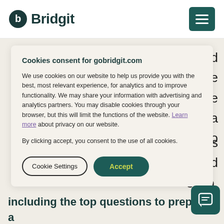Bridgit
Cookies consent for gobridgit.com
We use cookies on our website to help us provide you with the best, most relevant experience, for analytics and to improve functionality. We may share your information with advertising and analytics partners. You may disable cookies through your browser, but this will limit the functions of the website. Learn more about privacy on our website.
By clicking accept, you consent to the use of all cookies.
including the top questions to prep for a